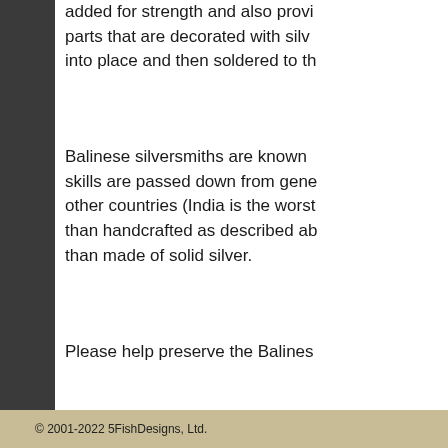added for strength and also provi... parts that are decorated with silv... into place and then soldered to th...
Balinese silversmiths are known ... skills are passed down from gene... other countries (India is the worst... than handcrafted as described ab... than made of solid silver.
Please help preserve the Balines...
© 2001-2022 5FishDesigns, Ltd.